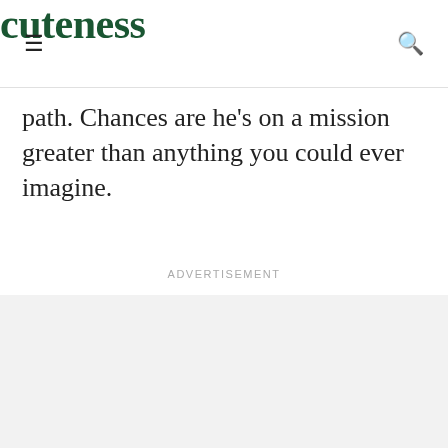cuteness
path. Chances are he's on a mission greater than anything you could ever imagine.
Advertisement
[Figure (other): Advertisement placeholder area with light gray background]